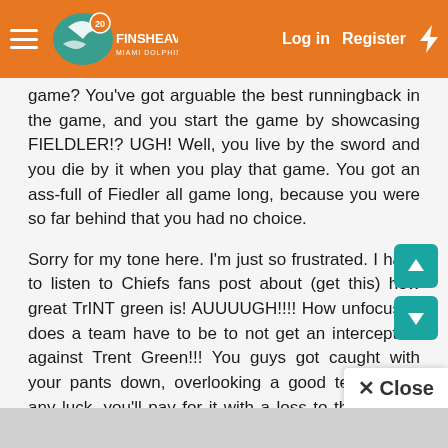FinsHeaven - Log in | Register
game? You've got arguable the best runningback in the game, and you start the game by showcasing FIELDLER!? UGH! Well, you live by the sword and you die by it when you play that game. You got an ass-full of Fiedler all game long, because you were so far behind that you had no choice.
Sorry for my tone here. I'm just so frustrated. I have to listen to Chiefs fans post about (get this) how great TrINT green is! AUUUUGH!!!! How unfocused does a team have to be to not get an interception against Trent Green!!! You guys got caught with your pants down, overlooking a good team. With any luck, you'll pay for it with a loss to the Patsies next week. They got spanked by an AFC West team too!
Anyway... Sorry to take out the frustration on you p... just so aggrivating reading Chiefs fans post with h...